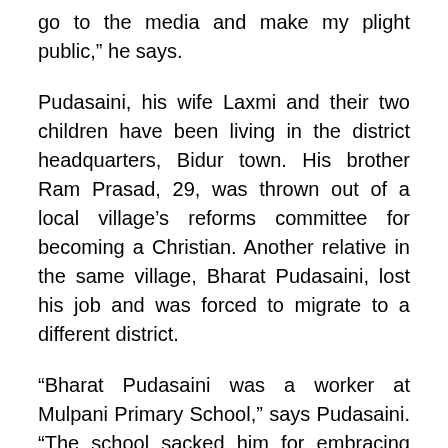go to the media and make my plight public,” he says.
Pudasaini, his wife Laxmi and their two children have been living in the district headquarters, Bidur town. His brother Ram Prasad, 29, was thrown out of a local village’s reforms committee for becoming a Christian. Another relative in the same village, Bharat Pudasaini, lost his job and was forced to migrate to a different district.
“Bharat Pudasaini was a worker at Mulpani Primary School,” says Pudasaini. “The school sacked him for embracing Christianity, and the villagers forced his family to leave the village. Even four years after Nepal became officially secular, he is not allowed to return to his village and sell his house and land, which he wants to, desperately. He has four children to look after, and the displacement is virtually driving the family to starvation.”